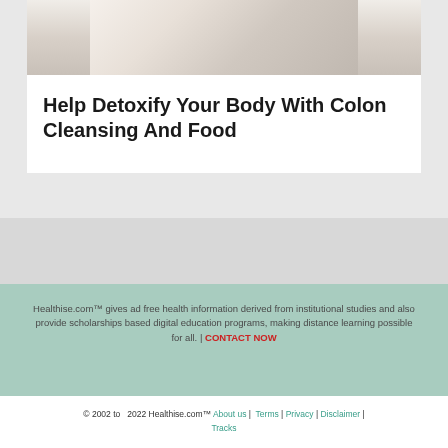[Figure (photo): Photo of a person wrapped in a white towel or robe, showing their lower face/neck area, suggesting a spa or wellness theme.]
Help Detoxify Your Body With Colon Cleansing And Food
Healthise.com™ gives ad free health information derived from institutional studies and also provide scholarships based digital education programs, making distance learning possible for all. | CONTACT NOW
© 2002 to 2022 Healthise.com™ About us | Terms | Privacy | Disclaimer | Tracks